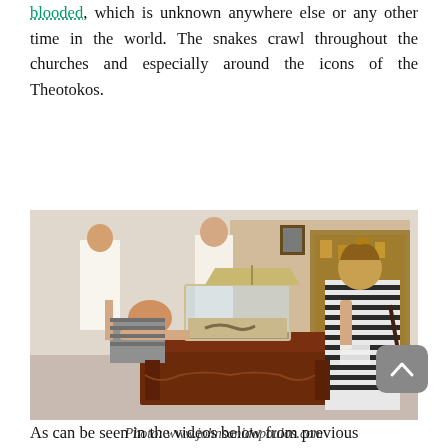blooded, which is unknown anywhere else or any other time in the world. The snakes crawl throughout the churches and especially around the icons of the Theotokos.
[Figure (photo): People looking at snakes in a glass display case on an ornate wooden table inside a church. A woman in a striped dress stands to the right looking at papers, while children lean over to look at the display.]
Photo: www.johnsanidopoulos.com
As can be seen in the videos below from previous